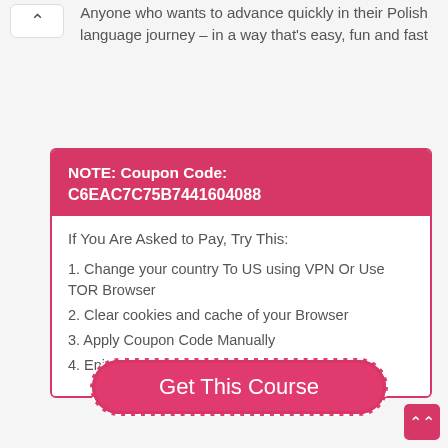Anyone who wants to advance quickly in their Polish language journey – in a way that's easy, fun and fast
NOTE: Coupon Code: C6EAC7C75B7441604088
If You Are Asked to Pay, Try This:
1. Change your country To US using VPN Or Use TOR Browser
2. Clear cookies and cache of your Browser
3. Apply Coupon Code Manually
4. Enjoy Your Free Course
Get This Course